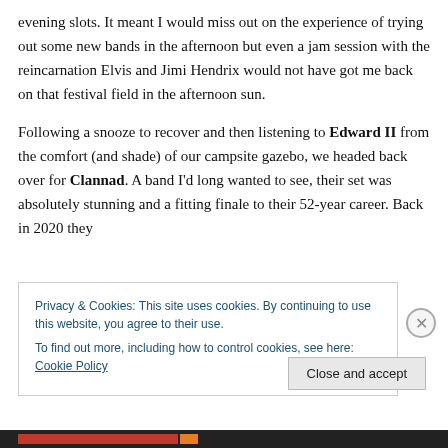evening slots. It meant I would miss out on the experience of trying out some new bands in the afternoon but even a jam session with the reincarnation Elvis and Jimi Hendrix would not have got me back on that festival field in the afternoon sun.

Following a snooze to recover and then listening to Edward II from the comfort (and shade) of our campsite gazebo, we headed back over for Clannad. A band I'd long wanted to see, their set was absolutely stunning and a fitting finale to their 52-year career. Back in 2020 they
Privacy & Cookies: This site uses cookies. By continuing to use this website, you agree to their use.
To find out more, including how to control cookies, see here: Cookie Policy